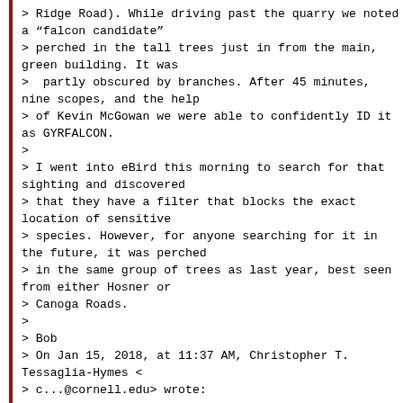> Ridge Road). While driving past the quarry we noted a “falcon candidate"
> perched in the tall trees just in from the main, green building. It was
>  partly obscured by branches. After 45 minutes, nine scopes, and the help
> of Kevin McGowan we were able to confidently ID it as GYRFALCON.
>
> I went into eBird this morning to search for that sighting and discovered
> that they have a filter that blocks the exact location of sensitive
> species. However, for anyone searching for it in the future, it was perched
> in the same group of trees as last year, best seen from either Hosner or
> Canoga Roads.
>
> Bob
> On Jan 15, 2018, at 11:37 AM, Christopher T. Tessaglia-Hymes <
> c...@cornell.edu> wrote: